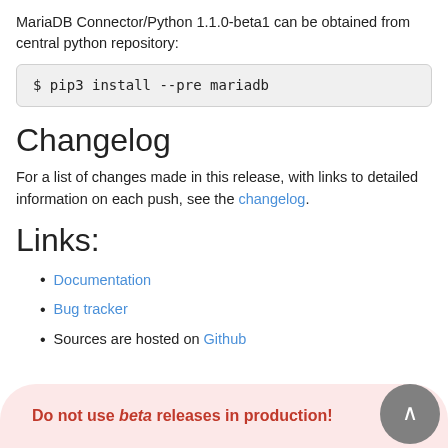MariaDB Connector/Python 1.1.0-beta1 can be obtained from central python repository:
$ pip3 install --pre mariadb
Changelog
For a list of changes made in this release, with links to detailed information on each push, see the changelog.
Links:
Documentation
Bug tracker
Sources are hosted on Github
Do not use beta releases in production!